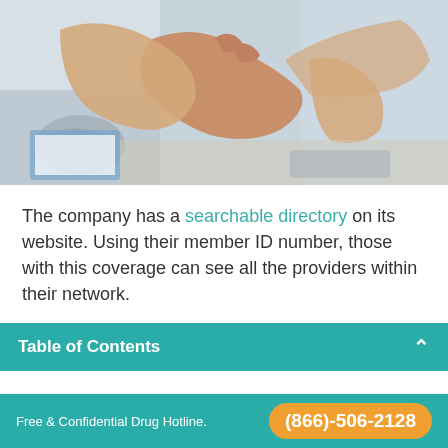[Figure (photo): Two people shaking hands in a medical/clinical setting; one person appears to be a doctor in a white coat with a stethoscope visible on the desk, along with a clipboard.]
The company has a searchable directory on its website. Using their member ID number, those with this coverage can see all the providers within their network.
Table of Contents
Free & Confidential Drug Hotline.  (866)-506-2128